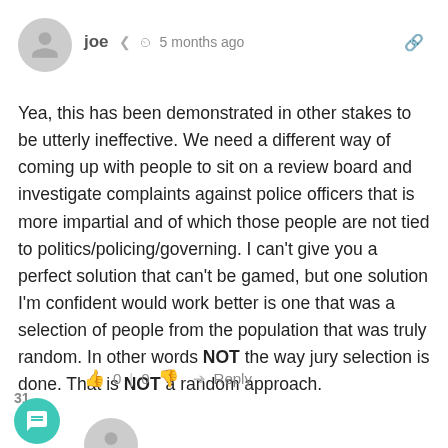joe  5 months ago
Yea, this has been demonstrated in other stakes to be utterly ineffective. We need a different way of coming up with people to sit on a review board and investigate complaints against police officers that is more impartial and of which those people are not tied to politics/policing/governing. I can't give you a perfect solution that can't be gamed, but one solution I'm confident would work better is one that was a selection of people from the population that was truly random. In other words NOT the way jury selection is done. That is NOT a random approach.
0 | 0  Reply